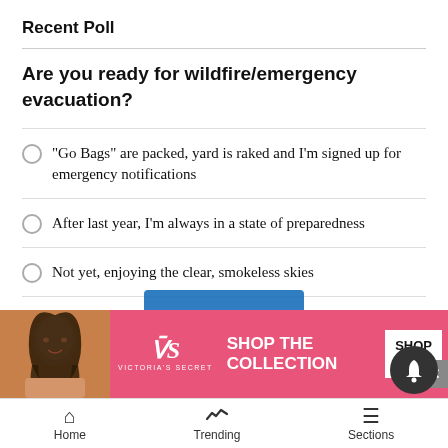Recent Poll
Are you ready for wildfire/emergency evacuation?
"Go Bags" are packed, yard is raked and I'm signed up for emergency notifications
After last year, I'm always in a state of preparedness
Not yet, enjoying the clear, smokeless skies
I'm exhausted with the threat of wildfire, thinking about moving
[Figure (advertisement): Victoria's Secret advertisement banner with model, VS logo, 'SHOP THE COLLECTION' text and 'SHOP NOW' button]
Home   Trending   Sections